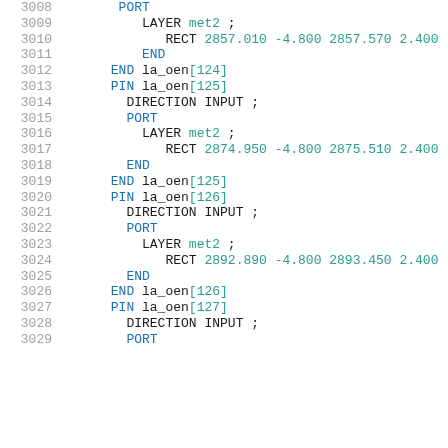3008 PORT
3009   LAYER met2 ;
3010     RECT 2857.010 -4.800 2857.570 2.400 ;
3011   END
3012 END la_oen[124]
3013 PIN la_oen[125]
3014   DIRECTION INPUT ;
3015   PORT
3016     LAYER met2 ;
3017       RECT 2874.950 -4.800 2875.510 2.400 ;
3018   END
3019 END la_oen[125]
3020 PIN la_oen[126]
3021   DIRECTION INPUT ;
3022   PORT
3023     LAYER met2 ;
3024       RECT 2892.890 -4.800 2893.450 2.400 ;
3025   END
3026 END la_oen[126]
3027 PIN la_oen[127]
3028   DIRECTION INPUT ;
3029   PORT